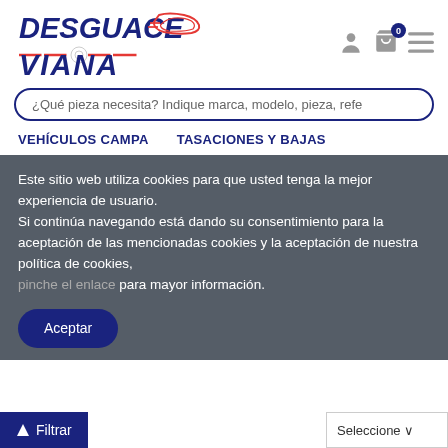[Figure (logo): Desguace Viana logo with stylized car silhouette and red/blue text]
¿Qué pieza necesita? Indique marca, modelo, pieza, refe
VEHÍCULOS CAMPA    TASACIONES Y BAJAS
Este sitio web utiliza cookies para que usted tenga la mejor experiencia de usuario.
Si continúa navegando está dando su consentimiento para la aceptación de las mencionadas cookies y la aceptación de nuestra política de cookies,
pinche el enlace para mayor información.
Aceptar
Filtrar
Seleccione